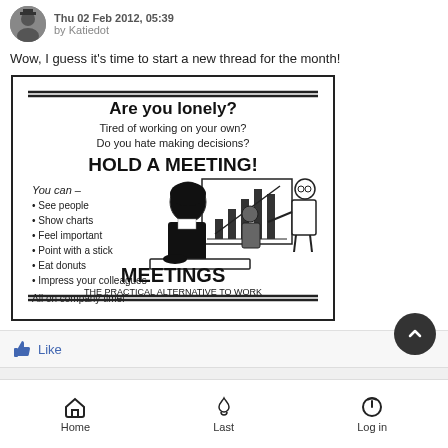Thu 02 Feb 2012, 05:39 by Katiedot
Wow, I guess it's time to start a new thread for the month!
[Figure (illustration): Humorous 'Are you lonely? HOLD A MEETING! MEETINGS - THE PRACTICAL ALTERNATIVE TO WORK' poster with vintage clip art of two people at a presentation]
Like